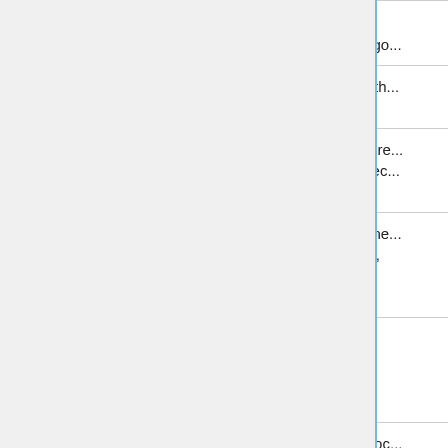| Date | Description |
| --- | --- |
| 22 | developing the deep learning algo... |
| June 29 | Finish training the algorithm for th... time |
| July 6 | Revisit the schools to collect more... and train the algorithm for the sec... time |
| July 13 18:00 UTC | See the improvement in the traine... algorithm with the students data, Mentors and students can begin submitting Phase 2 evaluations |
| July 17 18:00 UTC | Phase 2 Evaluation deadline |
| July 20 | Repeat the algorithm training proc... required, depending on the performance of the system |
| July | Start looking into building the mob... |